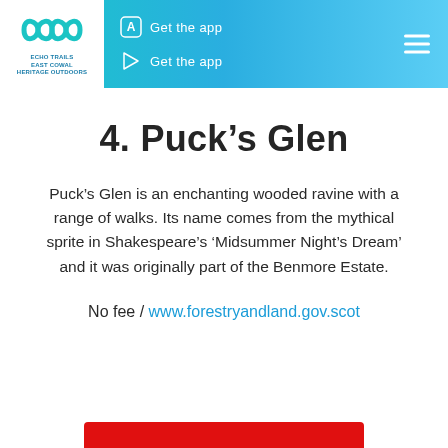Echo Trails East Cowal Heritage Outdoors — Get the app (App Store) / Get the app (Google Play)
4. Puck's Glen
Puck's Glen is an enchanting wooded ravine with a range of walks. Its name comes from the mythical sprite in Shakespeare's 'Midsummer Night's Dream' and it was originally part of the Benmore Estate.
No fee / www.forestryandland.gov.scot